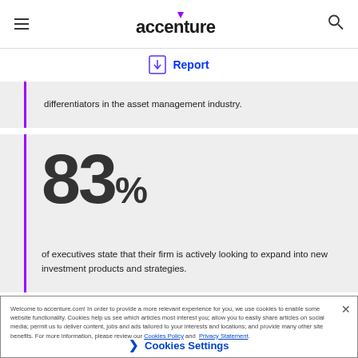accenture
[Figure (logo): Download Report icon with blue arrow and border]
differentiators in the asset management industry.
83% of executives state that their firm is actively looking to expand into new investment products and strategies.
Welcome to accenture.com! In order to provide a more relevant experience for you, we use cookies to enable some website functionality. Cookies help us see which articles most interest you; allow you to easily share articles on social media; permit us to deliver content, jobs and ads tailored to your interests and locations; and provide many other site benefits. For more information, please review our Cookies Policy and Privacy Statement.
Cookies Settings